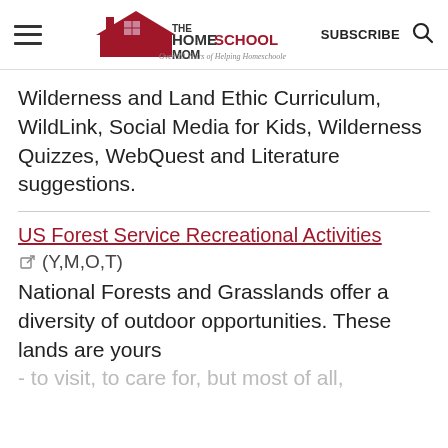THE HOMESCHOOL MOM — Over 20 Years of Helping Homeschoolers! | SUBSCRIBE
Wilderness and Land Ethic Curriculum, WildLink, Social Media for Kids, Wilderness Quizzes, WebQuest and Literature suggestions.
US Forest Service Recreational Activities (Y,M,O,T) National Forests and Grasslands offer a diversity of outdoor opportunities. These lands are yours - to visit, to care for, but most of all,